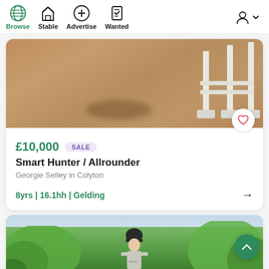Browse | Stable | Advertise | Wanted
[Figure (photo): Sandy arena floor with white show-jumping poles/jump standards visible in top right; horse shadow visible on sand]
£10,000 SALE
Smart Hunter / Allrounder
Georgie Selley in Colyton
8yrs | 16.1hh | Gelding
[Figure (photo): Rider wearing a black helmet and grey shirt standing among green trees/foliage with light sky background]